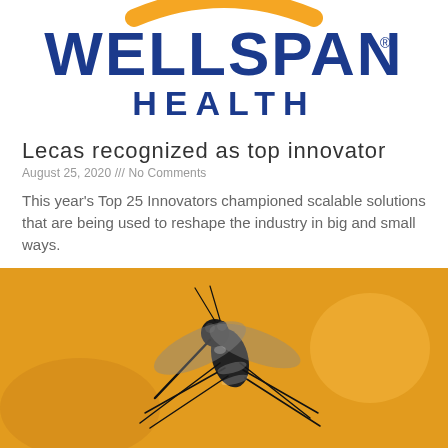[Figure (logo): WellSpan Health logo with orange arc above blue WELLSPAN text and dark blue HEALTH text below]
Lecas recognized as top innovator
August 25, 2020 /// No Comments
This year's Top 25 Innovators championed scalable solutions that are being used to reshape the industry in big and small ways.
Read More »
[Figure (photo): Close-up macro photograph of a mosquito against an orange/yellow background]